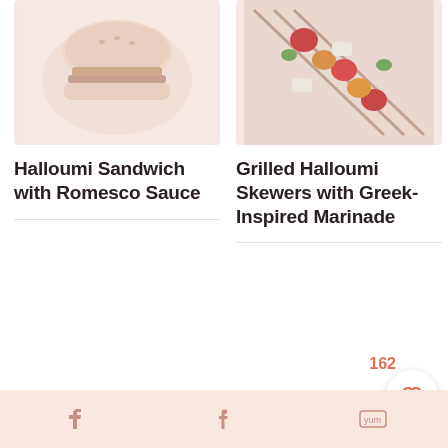[Figure (photo): Photo of a halloumi sandwich with romesco sauce on a white plate]
[Figure (photo): Photo of grilled halloumi skewers with Greek-inspired marinade and colorful vegetables]
Halloumi Sandwich with Romesco Sauce
Grilled Halloumi Skewers with Greek-Inspired Marinade
162
f  P  yum